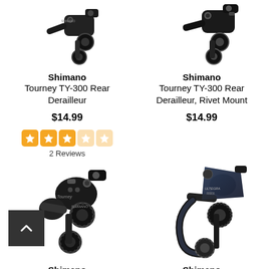[Figure (photo): Shimano Tourney TY-300 Rear Derailleur product photo, black, top-left]
Shimano
Tourney TY-300 Rear Derailleur
$14.99
[Figure (other): 3-star rating (3 filled orange stars, 2 empty) out of 5]
2 Reviews
[Figure (photo): Shimano Tourney TY-300 Rear Derailleur Rivet Mount product photo, black, top-right]
Shimano
Tourney TY-300 Rear Derailleur, Rivet Mount
$14.99
[Figure (photo): Shimano Tourney TY-500 Rear Derailleur product photo, black, bottom-left]
Shimano
Tourney TY-500 Rear
[Figure (photo): Shimano Ultegra R8000 Shadow product photo, dark gray/blue, bottom-right]
Shimano
Ultegra R8000 Shadow